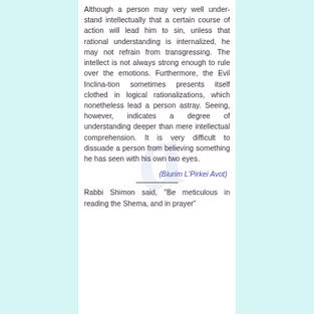Although a person may very well under-stand intellectually that a certain course of action will lead him to sin, unless that rational understanding is internalized, he may not refrain from transgressing. The intellect is not always strong enough to rule over the emotions. Furthermore, the Evil Inclination sometimes presents itself clothed in logical rationalizations, which nonetheless lead a person astray. Seeing, however, indicates a degree of understanding deeper than mere intellectual comprehension. It is very difficult to dissuade a person from believing something he has seen with his own two eyes.
(Biurim L'Pirkei Avot)
Rabbi Shimon said, "Be meticulous in reading the Shema, and in prayer"